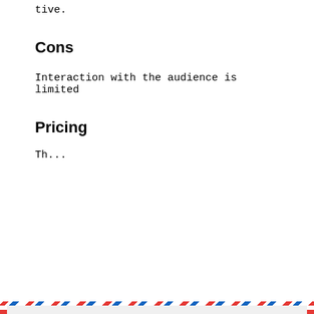tive.
Cons
Interaction with the audience is limited
Pricing
Th...
[Figure (other): Newsletter signup modal overlay with airmail border design. Contains title 'Join DigiFloor Newsletter', an email input field with placeholder 'Enter your email', a 'Subscribe' button, and 'powered by MailMunch' footer. A close button (×) appears in the top right corner.]